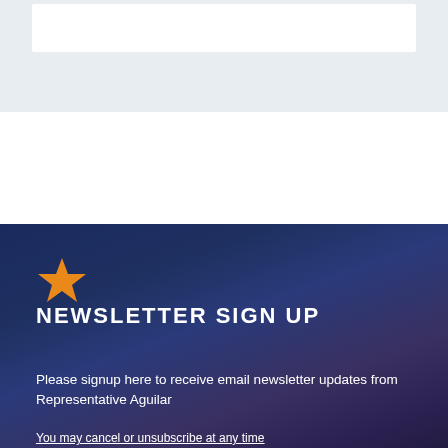[Figure (other): White content box on light grey background at top of page]
[Figure (photo): Dark blue night sky over mountain silhouette with city lights glowing in the valley below]
NEWSLETTER SIGN UP
Please signup here to receive email newsletter updates from Representative Aguilar
You may cancel or unsubscribe at any time
FIRST NAME
LAST NAME
EMAIL